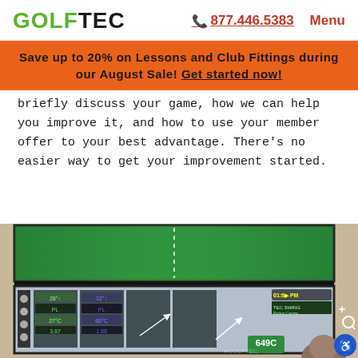GOLFTEC | 877.446.5383 | Menu
Save up to 20% on Lessons and Club Fittings during our August Sale! Get started now!
briefly discuss your game, how we can help you improve it, and how to use your member offer to your best advantage. There's no easier way to get your improvement started.
[Figure (photo): Photo of GolfTec simulator screens showing golf swing analysis software. Top screen shows a green fairway view with dashed centerline. Bottom screen shows swing analysis data with HUD overlays, data panels, and a green badge reading '649C'. A person's head is visible at bottom right. Blue accessibility button in bottom right corner.]